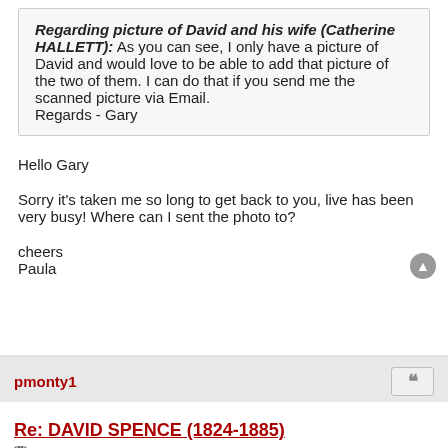Regarding picture of David and his wife (Catherine HALLETT): As you can see, I only have a picture of David and would love to be able to add that picture of the two of them. I can do that if you send me the scanned picture via Email.
Regards - Gary
Hello Gary
Sorry it's taken me so long to get back to you, live has been very busy! Where can I sent the photo to?
cheers
Paula
pmonty1
Re: DAVID SPENCE (1824-1885)
Tue Nov 08, 2016 10:02 am